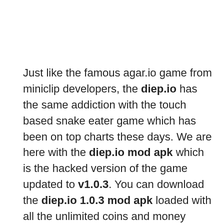Just like the famous agar.io game from miniclip developers, the diep.io has the same addiction with the touch based snake eater game which has been on top charts these days. We are here with the diep.io mod apk which is the hacked version of the game updated to v1.0.3. You can download the diep.io 1.0.3 mod apk loaded with all the unlimited coins and money which is needed in the game. Here are some of the main features of the game given in the official description of the game from the play